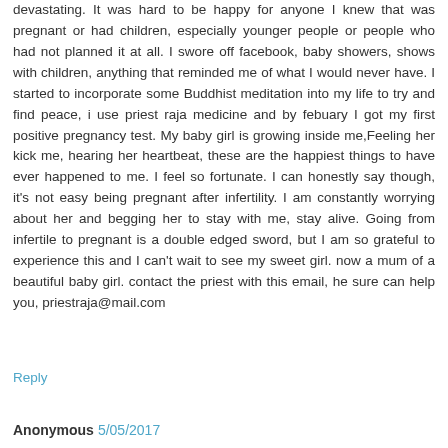devastating. It was hard to be happy for anyone I knew that was pregnant or had children, especially younger people or people who had not planned it at all. I swore off facebook, baby showers, shows with children, anything that reminded me of what I would never have. I started to incorporate some Buddhist meditation into my life to try and find peace, i use priest raja medicine and by febuary I got my first positive pregnancy test. My baby girl is growing inside me,Feeling her kick me, hearing her heartbeat, these are the happiest things to have ever happened to me. I feel so fortunate. I can honestly say though, it's not easy being pregnant after infertility. I am constantly worrying about her and begging her to stay with me, stay alive. Going from infertile to pregnant is a double edged sword, but I am so grateful to experience this and I can't wait to see my sweet girl. now a mum of a beautiful baby girl. contact the priest with this email, he sure can help you, priestraja@mail.com
Reply
Anonymous 5/05/2017